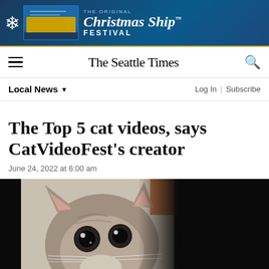[Figure (photo): Advertisement banner for The Original Christmas Ship Festival with a snowflake icon, cruise ship image, and text on dark blue background]
The Seattle Times
Local News
Log In | Subscribe
The Top 5 cat videos, says CatVideoFest’s creator
June 24, 2022 at 6:00 am
[Figure (photo): Close-up photo of a wide-eyed surprised-looking tabby cat peeking from the side, with black background on the right]